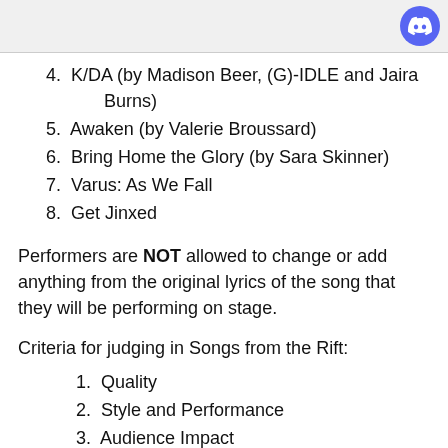4. K/DA (by Madison Beer, (G)-IDLE and Jaira Burns)
5. Awaken (by Valerie Broussard)
6. Bring Home the Glory (by Sara Skinner)
7. Varus: As We Fall
8. Get Jinxed
Performers are NOT allowed to change or add anything from the original lyrics of the song that they will be performing on stage.
Criteria for judging in Songs from the Rift:
1. Quality
2. Style and Performance
3. Audience Impact